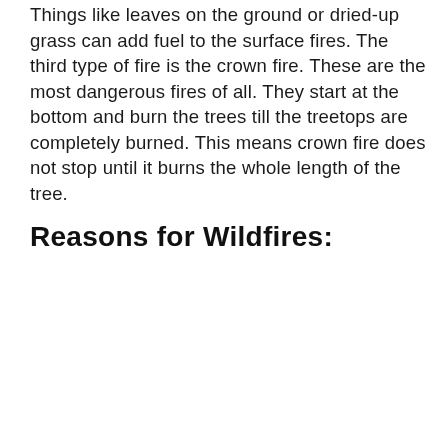Things like leaves on the ground or dried-up grass can add fuel to the surface fires. The third type of fire is the crown fire. These are the most dangerous fires of all. They start at the bottom and burn the trees till the treetops are completely burned. This means crown fire does not stop until it burns the whole length of the tree.
Reasons for Wildfires: